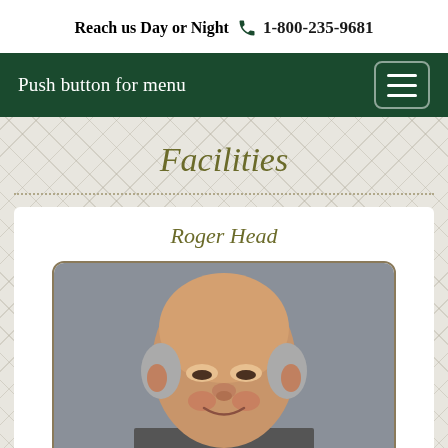Reach us Day or Night 1-800-235-9681
Push button for menu
Facilities
Roger Head
[Figure (photo): Headshot photo of Roger Head, a middle-aged bald man with gray hair on the sides, smiling, against a gray background]